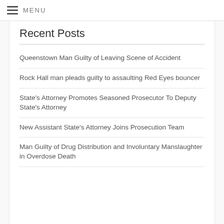MENU
Recent Posts
Queenstown Man Guilty of Leaving Scene of Accident
Rock Hall man pleads guilty to assaulting Red Eyes bouncer
State's Attorney Promotes Seasoned Prosecutor To Deputy State's Attorney
New Assistant State's Attorney Joins Prosecution Team
Man Guilty of Drug Distribution and Involuntary Manslaughter in Overdose Death